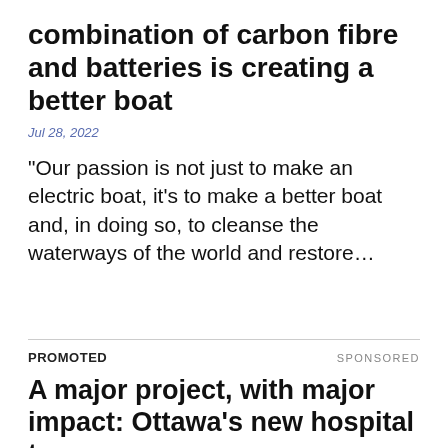combination of carbon fibre and batteries is creating a better boat
Jul 28, 2022
“Our passion is not just to make an electric boat, it’s to make a better boat and, in doing so, to cleanse the waterways of the world and restore…
PROMOTED
SPONSORED
A major project, with major impact: Ottawa’s new hospital to pump